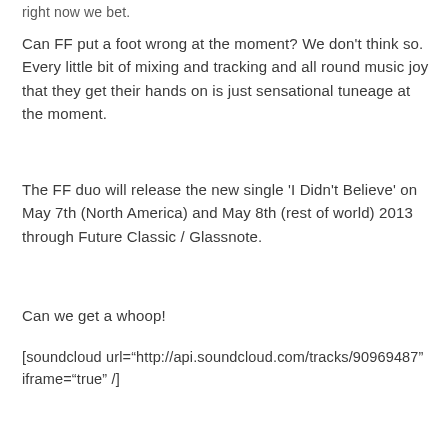right now we bet.
Can FF put a foot wrong at the moment? We don't think so. Every little bit of mixing and tracking and all round music joy that they get their hands on is just sensational tuneage at the moment.
The FF duo will release the new single 'I Didn't Believe' on May 7th (North America) and May 8th (rest of world) 2013 through Future Classic / Glassnote.
Can we get a whoop!
[soundcloud url="http://api.soundcloud.com/tracks/90969487" iframe="true" /]